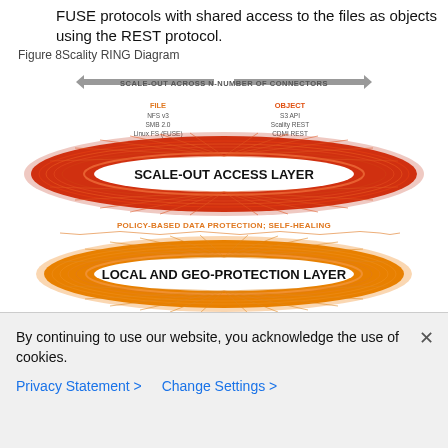FUSE protocols with shared access to the files as objects using the REST protocol.
Figure 8Scality RING Diagram
[Figure (infographic): Scality RING architecture diagram showing layered elliptical rings. Top arrow banner: 'SCALE-OUT ACROSS N-NUMBER OF CONNECTORS'. Two columns of labels above the first ring: FILE (NFS v3, SMB 2.0, Linux FS (FUSE)) in orange, and OBJECT (S3 API, Scality REST, CDMI REST) in orange. First ring (red/orange gradient): 'SCALE-OUT ACCESS LAYER'. Label between rings: 'POLICY-BASED DATA PROTECTION; SELF-HEALING'. Second ring (orange gradient): 'LOCAL AND GEO-PROTECTION LAYER'. Label below: 'ADVANCED ROUTING; MANAGEMENT'. Third ring (partially visible at bottom).]
By continuing to use our website, you acknowledge the use of cookies.
Privacy Statement > Change Settings >